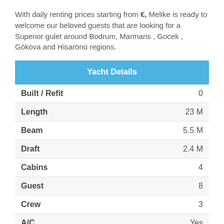With daily renting prices starting from €, Melike is ready to welcome our beloved guests that are looking for a Superior gulet around Bodrum, Marmaris , Gocek , Gökova and Hisarönü regions.
| Yacht Details |  |
| --- | --- |
| Built / Refit | 0 |
| Length | 23 M |
| Beam | 5.5 M |
| Draft | 2.4 M |
| Cabins | 4 |
| Guest | 8 |
| Crew | 3 |
| A/C | Yes |
| Speed | 9 Knots |
| Engine | 210 Hp |